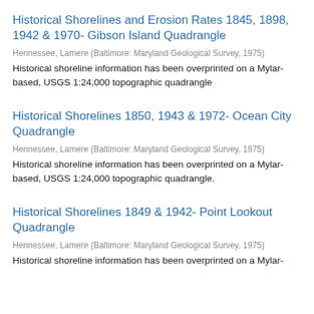Historical Shorelines and Erosion Rates 1845, 1898, 1942 & 1970- Gibson Island Quadrangle
Hennessee, Lamere (Baltimore: Maryland Geological Survey, 1975)
Historical shoreline information has been overprinted on a Mylar-based, USGS 1:24,000 topographic quadrangle
Historical Shorelines 1850, 1943 & 1972- Ocean City Quadrangle
Hennessee, Lamere (Baltimore: Maryland Geological Survey, 1975)
Historical shoreline information has been overprinted on a Mylar-based, USGS 1:24,000 topographic quadrangle.
Historical Shorelines 1849 & 1942- Point Lookout Quadrangle
Hennessee, Lamere (Baltimore: Maryland Geological Survey, 1975)
Historical shoreline information has been overprinted on a Mylar-